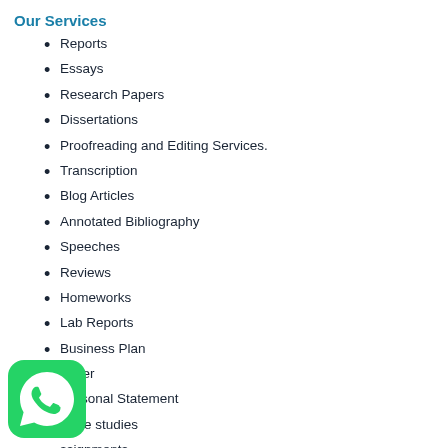Our Services
Reports
Essays
Research Papers
Dissertations
Proofreading and Editing Services.
Transcription
Blog Articles
Annotated Bibliography
Speeches
Reviews
Homeworks
Lab Reports
Business Plan
Letter
Personal Statement
Case studies
Assignments
Business Plan
[Figure (logo): WhatsApp logo icon — green rounded square with white phone handset graphic]